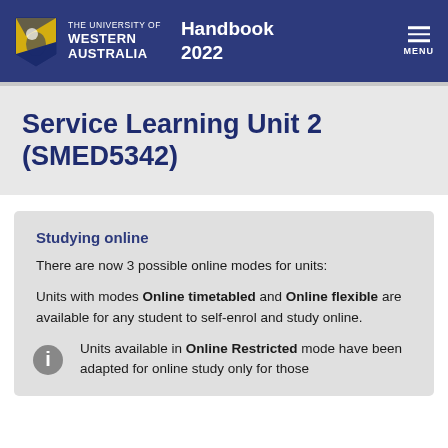THE UNIVERSITY OF WESTERN AUSTRALIA — Handbook 2022
Service Learning Unit 2 (SMED5342)
Studying online
There are now 3 possible online modes for units:
Units with modes Online timetabled and Online flexible are available for any student to self-enrol and study online.
Units available in Online Restricted mode have been adapted for online study only for those